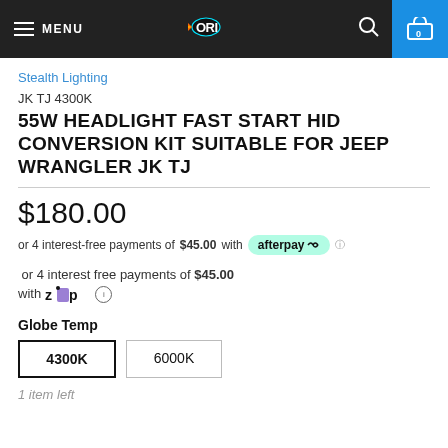MENU | ORI logo | search | cart 0
Stealth Lighting
JK TJ 4300K
55W HEADLIGHT FAST START HID CONVERSION KIT SUITABLE FOR JEEP WRANGLER JK TJ
$180.00
or 4 interest-free payments of $45.00 with afterpay
or 4 interest free payments of $45.00 with Zip
Globe Temp
4300K  6000K
1 item left